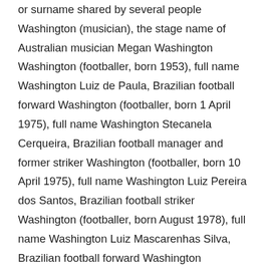or surname shared by several people Washington (musician), the stage name of Australian musician Megan Washington Washington (footballer, born 1953), full name Washington Luiz de Paula, Brazilian football forward Washington (footballer, born 1 April 1975), full name Washington Stecanela Cerqueira, Brazilian football manager and former striker Washington (footballer, born 10 April 1975), full name Washington Luiz Pereira dos Santos, Brazilian football striker Washington (footballer, born August 1978), full name Washington Luiz Mascarenhas Silva, Brazilian football forward Washington (footballer, born November 1978), full name Washington Luigi Garcia, Brazilian football forward Washington (footballer, born 1985), full name Washington Roberto Mariano de